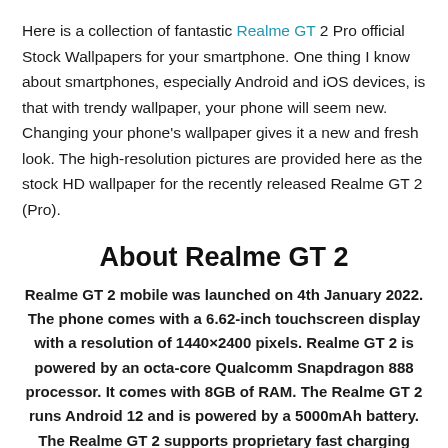Here is a collection of fantastic Realme GT 2 Pro official Stock Wallpapers for your smartphone. One thing I know about smartphones, especially Android and iOS devices, is that with trendy wallpaper, your phone will seem new. Changing your phone's wallpaper gives it a new and fresh look. The high-resolution pictures are provided here as the stock HD wallpaper for the recently released Realme GT 2 (Pro).
About Realme GT 2
Realme GT 2 mobile was launched on 4th January 2022. The phone comes with a 6.62-inch touchscreen display with a resolution of 1440×2400 pixels. Realme GT 2 is powered by an octa-core Qualcomm Snapdragon 888 processor. It comes with 8GB of RAM. The Realme GT 2 runs Android 12 and is powered by a 5000mAh battery. The Realme GT 2 supports proprietary fast charging